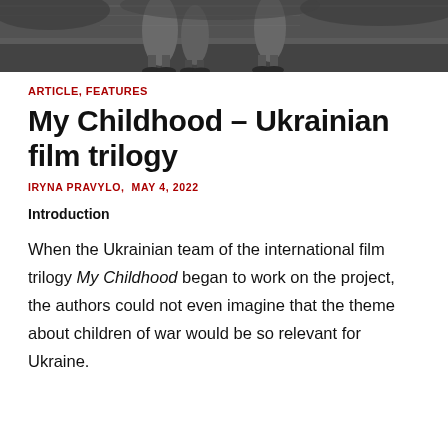[Figure (photo): Black and white photograph showing children, partially cropped at the top of the page]
ARTICLE, FEATURES
My Childhood – Ukrainian film trilogy
IRYNA PRAVYLO, MAY 4, 2022
Introduction
When the Ukrainian team of the international film trilogy My Childhood began to work on the project, the authors could not even imagine that the theme about children of war would be so relevant for Ukraine.